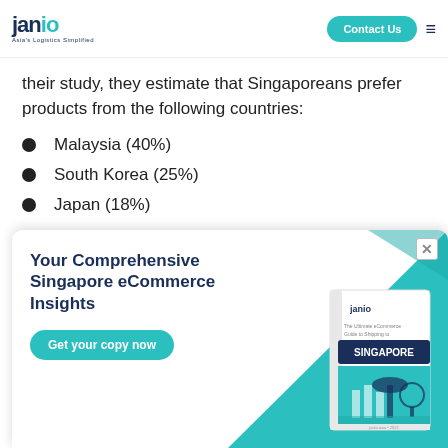janio — Asia's Logistics Simplified | Contact Us
their study, they estimate that Singaporeans prefer products from the following countries:
Malaysia (40%)
South Korea (25%)
Japan (18%)
[Figure (infographic): Popup advertisement for 'Your Comprehensive Singapore eCommerce Insights' with a 'Get your copy now' button and a book cover image, on a teal/white background.]